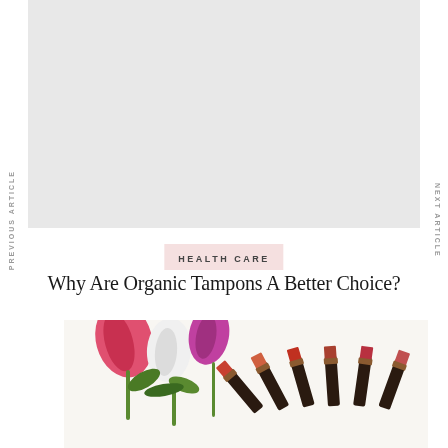[Figure (photo): Large gray placeholder image at the top of the page]
PREVIOUS ARTICLE
NEXT ARTICLE
HEALTH CARE
Why Are Organic Tampons A Better Choice?
[Figure (photo): Photo of pink and white tulips alongside a fan of lipstick tubes on a white background]